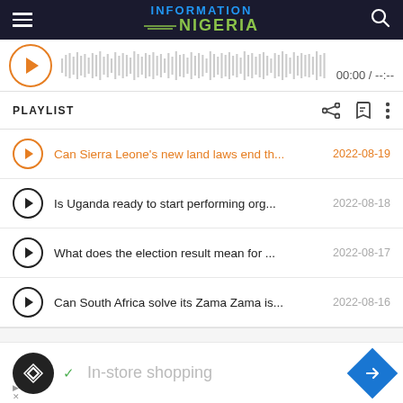INFORMATION NIGERIA
[Figure (screenshot): Audio player with orange play button, waveform visualization, and time display 00:00 / --:--]
PLAYLIST
Can Sierra Leone's new land laws end th... 2022-08-19
Is Uganda ready to start performing org... 2022-08-18
What does the election result mean for ... 2022-08-17
Can South Africa solve its Zama Zama is... 2022-08-16
[Figure (screenshot): Advertisement bar showing In-store shopping with navigation icon]